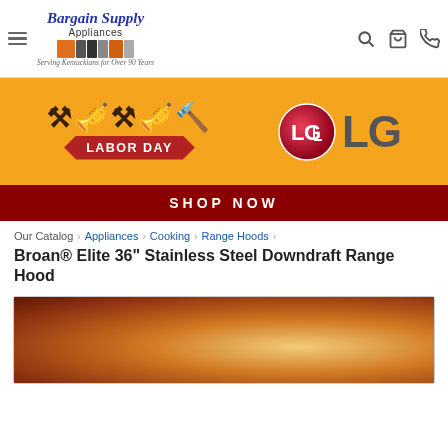Bargain Supply Appliances — Serving Kentuckians for Over 90 Years
[Figure (infographic): Labor Day sale banner with LG logo on orange background and SHOP NOW button]
Our Catalog › Appliances › Cooking › Range Hoods ›
Broan® Elite 36" Stainless Steel Downdraft Range Hood
[Figure (photo): Product photo of range hood — dark brown/orange gradient preview image]